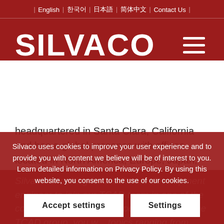English | 한국어 | 日本語 | 简体中文 | Contact Us
[Figure (logo): Silvaco logo in white text on dark red background with hamburger menu icon]
headquartered in Santa Clara, California and has a global presence with offices located in North America, Europe, Japan, and Asia.
Silvaco is a privately held company, measuring itself to the highest ethical standards and world class performance.
Silvaco is looking for a software development engineer to join our TCAD team in one of the company's offices in Europe. We... TCAD group, you w... topics ranging from process simulation to device simulation happen...
Silvaco uses cookies to improve your user experience and to provide you with content we believe will be of interest to you. Learn detailed information on Privacy Policy. By using this website, you consent to the use of our cookies.